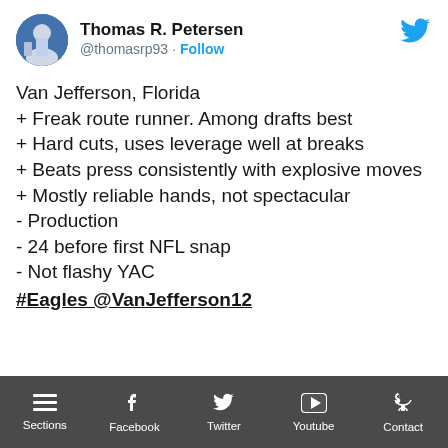[Figure (screenshot): Twitter avatar of Thomas R. Petersen, circular profile picture with blue tones]
Thomas R. Petersen
@thomasrp93 · Follow
[Figure (logo): Twitter bird logo in blue, top right]
Van Jefferson, Florida
+ Freak route runner. Among drafts best
+ Hard cuts, uses leverage well at breaks
+ Beats press consistently with explosive moves
+ Mostly reliable hands, not spectacular
- Production
- 24 before first NFL snap
- Not flashy YAC
#Eagles @VanJefferson12
Sections  Facebook  Twitter  Youtube  Contact